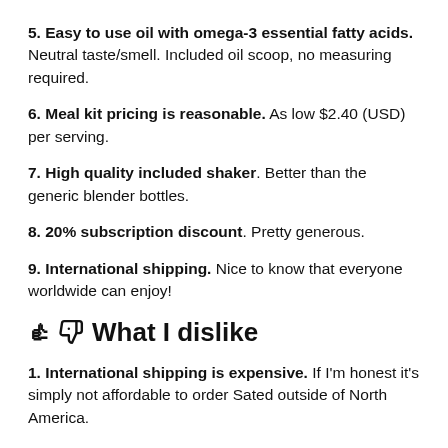5. Easy to use oil with omega-3 essential fatty acids. Neutral taste/smell. Included oil scoop, no measuring required.
6. Meal kit pricing is reasonable. As low $2.40 (USD) per serving.
7. High quality included shaker. Better than the generic blender bottles.
8. 20% subscription discount. Pretty generous.
9. International shipping. Nice to know that everyone worldwide can enjoy!
What I dislike
1. International shipping is expensive. If I'm honest it's simply not affordable to order Sated outside of North America.